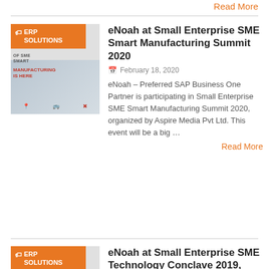Read More
[Figure (screenshot): Thumbnail image with orange ERP SOLUTIONS tag badge and manufacturing summit graphic]
eNoah at Small Enterprise SME Smart Manufacturing Summit 2020
February 18, 2020
eNoah – Preferred SAP Business One Partner is participating in Small Enterprise SME Smart Manufacturing Summit 2020, organized by Aspire Media Pvt Ltd. This event will be a big ...
Read More
[Figure (screenshot): Thumbnail image with orange ERP SOLUTIONS tag badge]
eNoah at Small Enterprise SME Technology Conclave 2019, Bengaluru